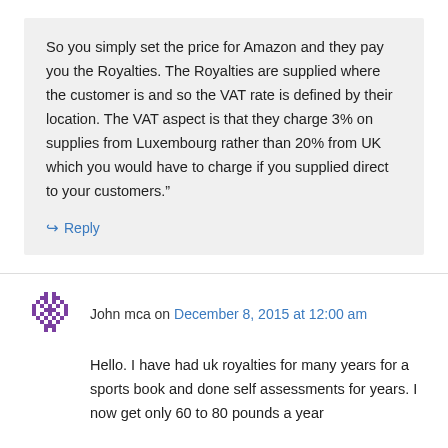So you simply set the price for Amazon and they pay you the Royalties. The Royalties are supplied where the customer is and so the VAT rate is defined by their location. The VAT aspect is that they charge 3% on supplies from Luxembourg rather than 20% from UK which you would have to charge if you supplied direct to your customers.”
↪ Reply
John mca on December 8, 2015 at 12:00 am
Hello. I have had uk royalties for many years for a sports book and done self assessments for years. I now get only 60 to 80 pounds a year